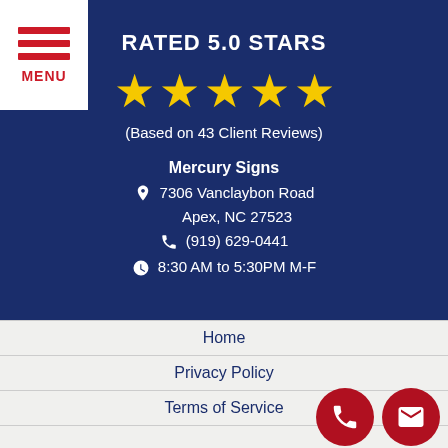[Figure (other): Menu hamburger icon with three red lines and MENU label on white background in top-left corner]
RATED 5.0 STARS
[Figure (other): Five gold/yellow star icons representing 5.0 rating]
(Based on 43 Client Reviews)
Mercury Signs
7306 Vanclaybon Road
Apex, NC 27523
(919) 629-0441
8:30 AM to 5:30PM M-F
Home
Privacy Policy
Terms of Service